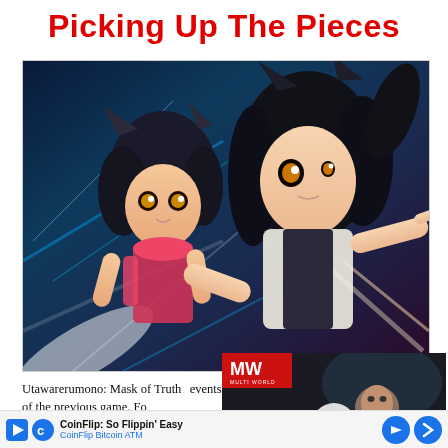Picking Up The Pieces
[Figure (illustration): Anime illustration featuring two dark-haired female characters in action poses against a dark blue/teal and purple background with light streaks]
[Figure (screenshot): Video advertisement thumbnail for FIFA 23 Release Date from MULTI WORLD channel, showing a football player looking upward with a play button overlay]
Utawarerumono: Mask of Truth picks up directly after the events of the previous game. Following the death of the Yamato Empire's Mikado at the hands of the mad general Vurai, h...kur. Like Ha...lling
[Figure (infographic): CoinFlip Bitcoin ATM advertisement banner with logo, title 'CoinFlip: So Flippin' Easy', subtitle 'CoinFlip Bitcoin ATM', and navigation arrow icon]